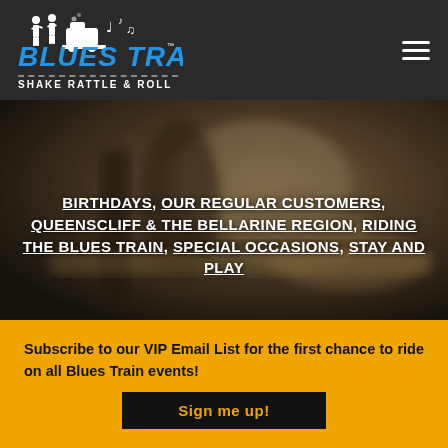[Figure (logo): The Blues Train logo with silhouette people/train icon, blue bold italic text 'BLUES TRAIN' with TM mark, dashed line, and tagline 'SHAKE RATTLE & ROLL' on dark background]
[Figure (photo): Blurred dark photo of hands playing an electric guitar, used as hero background image]
BIRTHDAYS, OUR REGULAR CUSTOMERS, QUEENSCLIFF & THE BELLARINE REGION, RIDING THE BLUES TRAIN, SPECIAL OCCASIONS, STAY AND PLAY
Subscribe to our VIP Email List for the first chance to ride on all Blues Train events!
Sign me up!